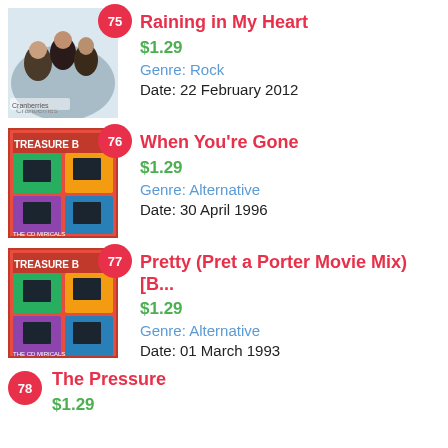75 Raining in My Heart | $1.29 | Genre: Rock | Date: 22 February 2012
76 When You're Gone | $1.29 | Genre: Alternative | Date: 30 April 1996
77 Pretty (Pret a Porter Movie Mix) [B... | $1.29 | Genre: Alternative | Date: 01 March 1993
78 The Pressure | $1.29